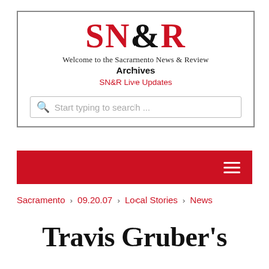[Figure (logo): SN&R Sacramento News & Review logo with red SN and R, black ampersand, subtitle, Archives heading, Live Updates link, and search bar]
Sacramento › 09.20.07 › Local Stories › News
Travis Gruber's